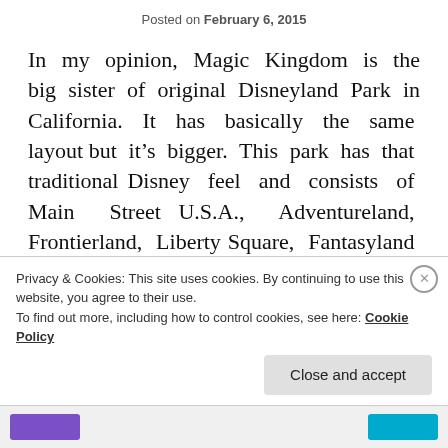Posted on February 6, 2015
In my opinion, Magic Kingdom is the big sister of original Disneyland Park in California. It has basically the same layout but it’s bigger. This park has that traditional Disney feel and consists of Main Street U.S.A., Adventureland, Frontierland, Liberty Square, Fantasyland and Tomorrowland. All of which have been favorites to millions of visitors over the years and contain a great
Privacy & Cookies: This site uses cookies. By continuing to use this website, you agree to their use.
To find out more, including how to control cookies, see here: Cookie Policy